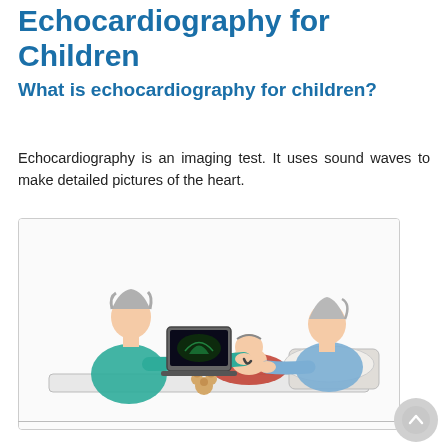Echocardiography for Children
What is echocardiography for children?
Echocardiography is an imaging test. It uses sound waves to make detailed pictures of the heart.
[Figure (illustration): Medical illustration showing a healthcare provider (nurse/technician in teal scrubs with gray hair) performing an echocardiogram on a baby lying on a bed, while a parent in a blue shirt leans in to watch. The provider holds an ultrasound probe to the infant's chest, and a laptop screen nearby shows the echocardiogram image. A stuffed teddy bear is near the infant.]